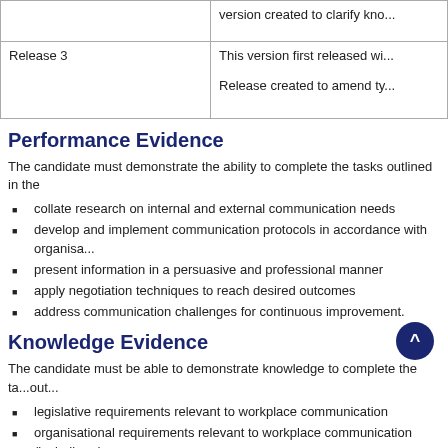|  |  |
| --- | --- |
|  | version created to clarify kno... |
| Release 3 | This version first released wi...

Release created to amend ty... |
Performance Evidence
The candidate must demonstrate the ability to complete the tasks outlined in the
collate research on internal and external communication needs
develop and implement communication protocols in accordance with organisa...
present information in a persuasive and professional manner
apply negotiation techniques to reach desired outcomes
address communication challenges for continuous improvement.
Knowledge Evidence
The candidate must be able to demonstrate knowledge to complete the ta... out...
legislative requirements relevant to workplace communication
organisational requirements relevant to workplace communication (including d...
workplace policies
codes of conduct
organisational reputation and culture
techniques to resolve communication challenges